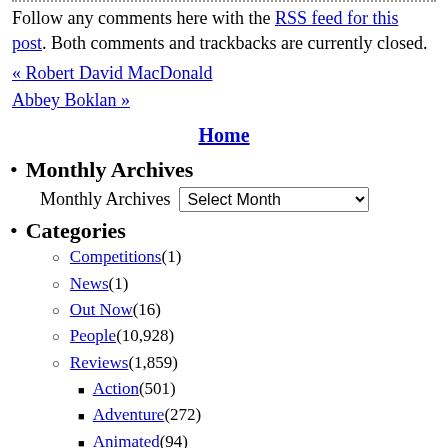Follow any comments here with the RSS feed for this post. Both comments and trackbacks are currently closed.
« Robert David MacDonald
Abbey Boklan »
Home
Monthly Archives
Monthly Archives  [Select Month dropdown]
Categories
Competitions (1)
News (1)
Out Now (16)
People (10,928)
Reviews (1,859)
Action (501)
Adventure (272)
Animated (94)
Asian (99)
British (312)
Comedy (681)